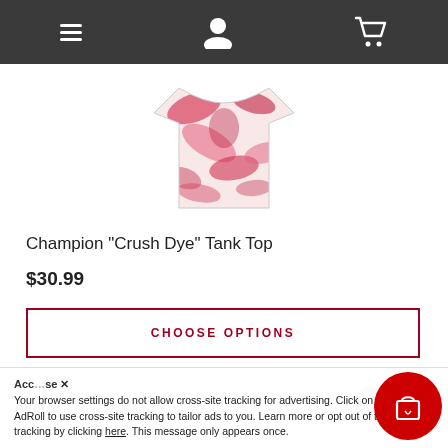Navigation bar with menu, user, and cart icons
[Figure (photo): Champion Crush Dye Tank Top product image showing pink/red tie-dye pattern]
Champion "Crush Dye" Tank Top
$30.99
CHOOSE OPTIONS
[Figure (photo): White tank top product image on light gray background]
Averie (Erie, United States)
Your browser settings do not allow cross-site tracking for advertising. Click on the link to allow AdRoll to use cross-site tracking to tailor ads to you. Learn more or opt out of this AdRoll tracking by clicking here. This message only appears once.